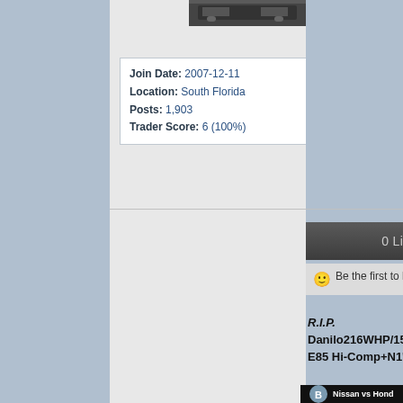[Figure (photo): Small car/vehicle photo thumbnail at top of center column]
Join Date: 2007-12-11
Location: South Florida
Posts: 1,903
Trader Score: 6 (100%)
0 Likes
Be the first to like this post.
R.I.P. Danilo216WHP/152TQ All Motor E85 Hi-Comp+N1's
[Figure (screenshot): YouTube video thumbnail showing 'Nissan vs Honda' with circular B logo, dark night-time street racing scene]